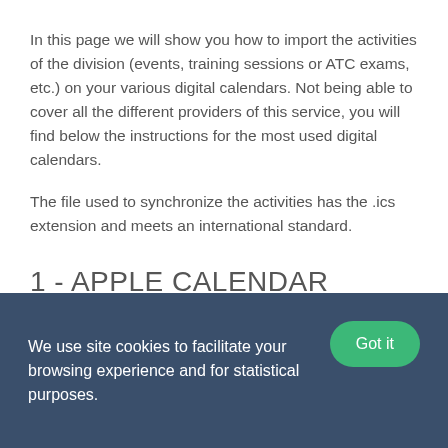In this page we will show you how to import the activities of the division (events, training sessions or ATC exams, etc.) on your various digital calendars. Not being able to cover all the different providers of this service, you will find below the instructions for the most used digital calendars.
The file used to synchronize the activities has the .ics extension and meets an international standard.
1 - APPLE CALENDAR
We use site cookies to facilitate your browsing experience and for statistical purposes.